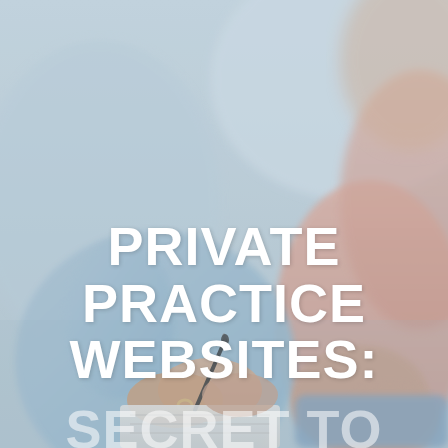[Figure (photo): A counselor or therapist holding a pen and writing in a notebook, sitting across from a patient. The scene is softly lit and blurred, with warm and cool tones. A second person (patient) is visible with hands clasped and wearing a peach/salmon colored top.]
PRIVATE PRACTICE WEBSITES:
SECRET TO